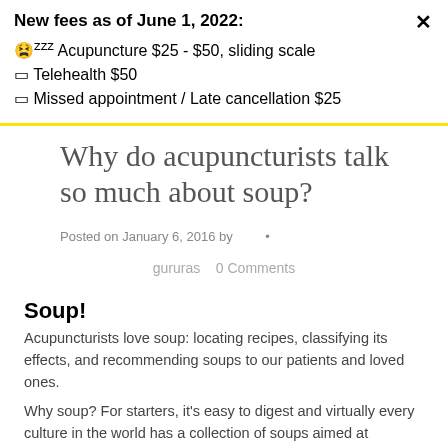New fees as of June 1, 2022:
🌙zzz Acupuncture $25 - $50, sliding scale
□ Telehealth $50
□ Missed appointment / Late cancellation $25
Why do acupuncturists talk so much about soup?
Posted on January 6, 2016 by
gururas   0 Comments
Soup!
Acupuncturists love soup: locating recipes, classifying its effects, and recommending soups to our patients and loved ones.
Why soup?  For starters, it's easy to digest and virtually every culture in the world has a collection of soups aimed at improving your health.  Here's some more to think about...
1. Lose weight with soup